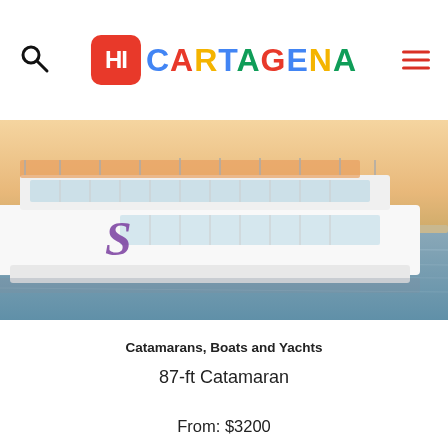HI CARTAGENA
[Figure (photo): Large white catamaran boat on calm water at sunset, with passengers on board. The boat has a purple 'S' logo on its side.]
Catamarans, Boats and Yachts
87-ft Catamaran
From: $3200